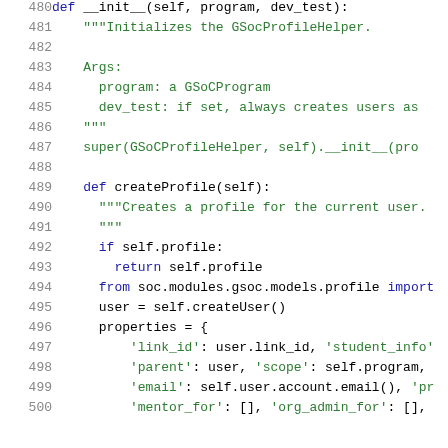Code listing lines 480-500: Python source code for GSocProfileHelper class methods __init__ and createProfile
480    def __init__(self, program, dev_test):
481        """Initializes the GSocProfileHelper.
482
483        Args:
484          program: a GSoCProgram
485          dev_test: if set, always creates users as
486        """
487        super(GSoCProfileHelper, self).__init__(pro
488
489    def createProfile(self):
490        """Creates a profile for the current user.
491        """
492        if self.profile:
493            return self.profile
494        from soc.modules.gsoc.models.profile import
495        user = self.createUser()
496        properties = {
497            'link_id': user.link_id, 'student_info'
498            'parent': user, 'scope': self.program,
499            'email': self.user.account.email(), 'pr
500            'mentor_for': [], 'org_admin_for': [],